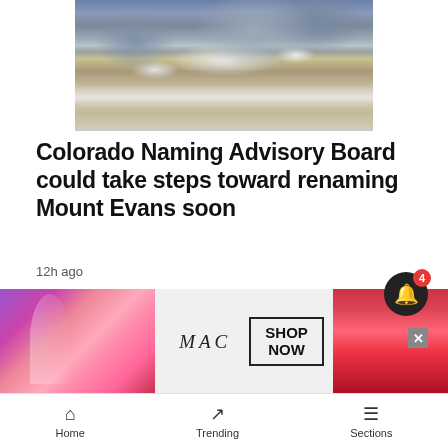[Figure (photo): Mountain landscape with rocky peaks and snow patches]
Colorado Naming Advisory Board could take steps toward renaming Mount Evans soon
12h ago
[Figure (photo): Thumbnail image of packaged goods (opioid-related article)]
Summit County takes action following Colorado's deadliest opioid overdose year in history
13h ago
[Figure (photo): MAC cosmetics advertisement banner showing lipsticks with SHOP NOW button]
Home  Trending  Sections